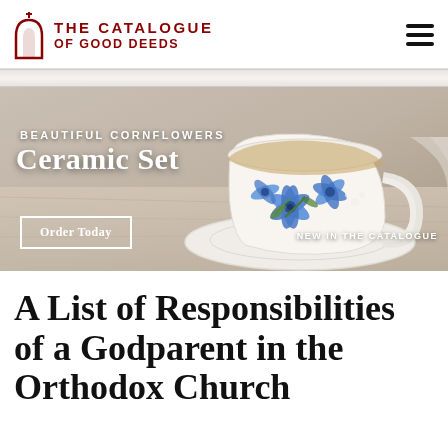THE CATALOGUE OF GOOD DEEDS
[Figure (photo): Banner advertisement for Beautiful Cornflowers Ceramic Set. Photo of a white ceramic teacup and saucer decorated with blue cornflowers on a wooden table background. Text overlay reads: BEAUTIFUL CORNFLOWERS / CERAMIC SET / Order Today / NEW IN THE CATALOGUE.]
A List of Responsibilities of a Godparent in the Orthodox Church